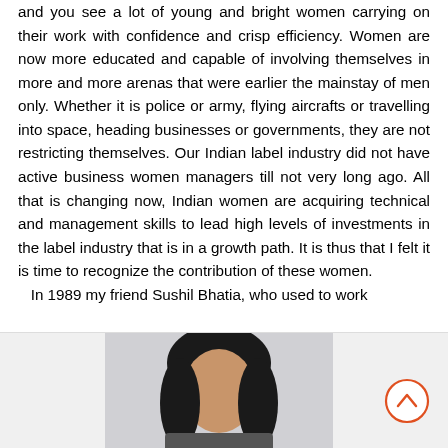and you see a lot of young and bright women carrying on their work with confidence and crisp efficiency. Women are now more educated and capable of involving themselves in more and more arenas that were earlier the mainstay of men only. Whether it is police or army, flying aircrafts or travelling into space, heading businesses or governments, they are not restricting themselves. Our Indian label industry did not have active business women managers till not very long ago. All that is changing now, Indian women are acquiring technical and management skills to lead high levels of investments in the label industry that is in a growth path. It is thus that I felt it is time to recognize the contribution of these women.
  In 1989 my friend Sushil Bhatia, who used to work
[Figure (photo): Partial photograph of a woman with dark hair against a light background, shown from approximately the shoulders up]